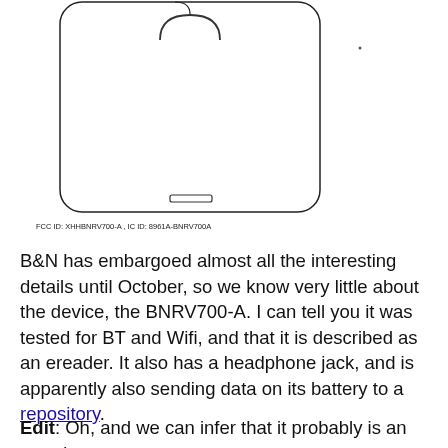[Figure (schematic): FCC filing diagram showing back of Barnes & Noble BNRV700-A ereader device with a zoomed-in label callout showing Barnes & Noble regulatory markings (FCC, IC, UL logos) and device IDs. A red box highlights the label location on the device and a red arrow points to the enlarged label inset showing '1:1' scale. Caption reads: FCC ID: XHHBNRV700-A, IC ID: 8961A-BNRV700A]
FCC ID: XHHBNRV700-A , IC ID: 8961A-BNRV700A
B&N has embargoed almost all the interesting details until October, so we know very little about the device, the BNRV700-A. I can tell you it was tested for BT and Wifi, and that it is described as an ereader. It also has a headphone jack, and is apparently also sending data on its battery to a repository.
Edit: Oh, and we can infer that it probably is an ereader